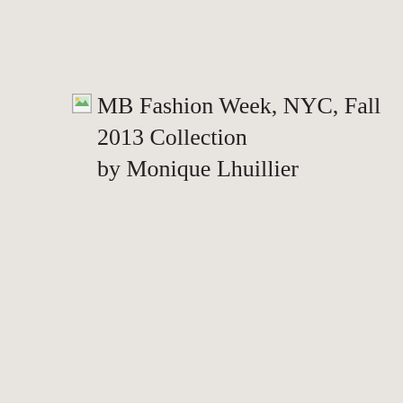[Figure (photo): Broken image placeholder icon followed by caption text: MB Fashion Week, NYC, Fall 2013 Collection by Monique Lhuillier]
MB Fashion Week, NYC, Fall 2013 Collection by Monique Lhuillier